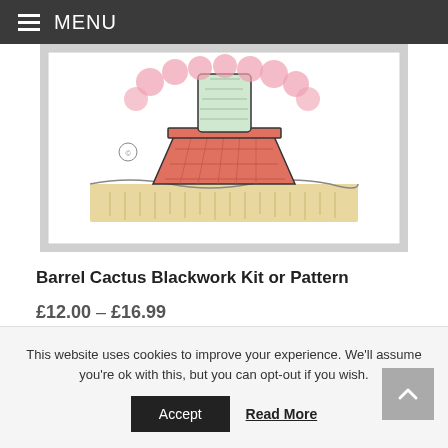MENU
[Figure (photo): Framed cross-stitch embroidery of a barrel cactus in a pot, with pink flowers on a white background, shown in a white frame]
Barrel Cactus Blackwork Kit or Pattern
£12.00 – £16.99
SELECT OPTIONS
This website uses cookies to improve your experience. We'll assume you're ok with this, but you can opt-out if you wish.
Accept
Read More